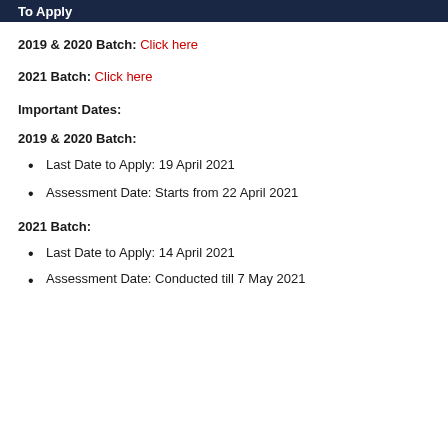To Apply
2019 & 2020 Batch: Click here
2021 Batch: Click here
Important Dates:
2019 & 2020 Batch:
Last Date to Apply: 19 April 2021
Assessment Date: Starts from 22 April 2021
2021 Batch:
Last Date to Apply: 14 April 2021
Assessment Date: Conducted till 7 May 2021